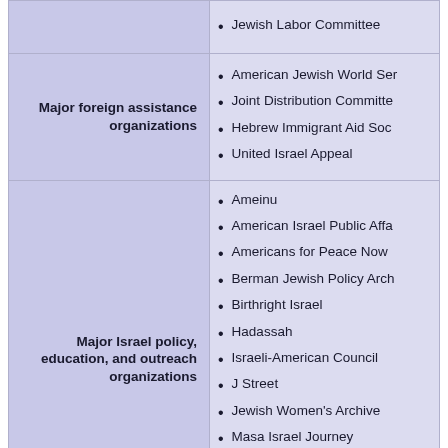Jewish Labor Committee
| Category | Organizations |
| --- | --- |
| Major foreign assistance organizations | American Jewish World Se...
Joint Distribution Committe...
Hebrew Immigrant Aid Soc...
United Israel Appeal |
| Major Israel policy, education, and outreach organizations | Ameinu
American Israel Public Affa...
Americans for Peace Now
Berman Jewish Policy Arch...
Birthright Israel
Hadassah
Israeli-American Council
J Street
Jewish Women's Archive
Masa Israel Journey
Middle East Media Resear...
Nefesh B'Nefesh
New Israel Fund |